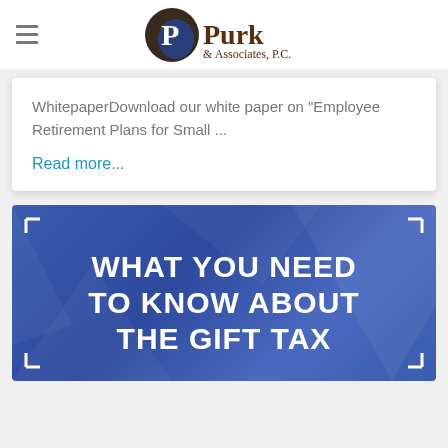[Figure (logo): Purk & Associates, P.C. logo with circular P icon and company name in brown serif text]
WhitepaperDownload our white paper on "Employee Retirement Plans for Small ...
Read more...
[Figure (infographic): Blue banner with white bold text reading WHAT YOU NEED TO KNOW ABOUT THE GIFT TAX, with corner bracket decorations]